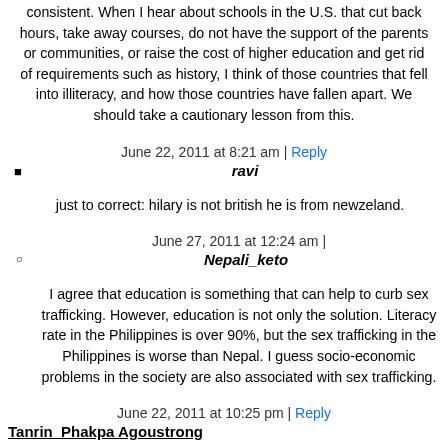consistent. When I hear about schools in the U.S. that cut back hours, take away courses, do not have the support of the parents or communities, or raise the cost of higher education and get rid of requirements such as history, I think of those countries that fell into illiteracy, and how those countries have fallen apart. We should take a cautionary lesson from this.
June 22, 2011 at 8:21 am | Reply
ravi
just to correct: hilary is not british he is from newzeland.
June 27, 2011 at 12:24 am |
Nepali_keto
I agree that education is something that can help to curb sex trafficking. However, education is not only the solution. Literacy rate in the Philippines is over 90%, but the sex trafficking in the Philippines is worse than Nepal. I guess socio-economic problems in the society are also associated with sex trafficking.
June 22, 2011 at 10:25 pm | Reply
Tanrin_Phakpa Agoustrong